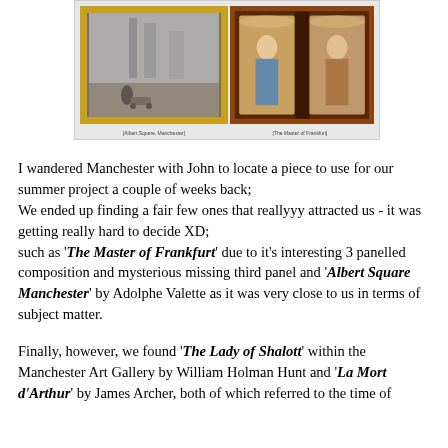[Figure (photo): Two paintings side by side: on the left, 'Albert Square Manchester' by Adolphe Valette showing a misty urban scene with figures; on the right, 'The Master of Frankfurt' triptych showing religious figures in arched panels.]
I wandered Manchester with John to locate a piece to use for our summer project a couple of weeks back;
We ended up finding a fair few ones that reallyyy attracted us - it was getting really hard to decide XD;
such as 'The Master of Frankfurt' due to it's interesting 3 panelled composition and mysterious missing third panel and 'Albert Square Manchester' by Adolphe Valette as it was very close to us in terms of subject matter.

Finally, however, we found 'The Lady of Shalott' within the Manchester Art Gallery by William Holman Hunt and 'La Mort d'Arthur' by James Archer, both of which referred to the time of